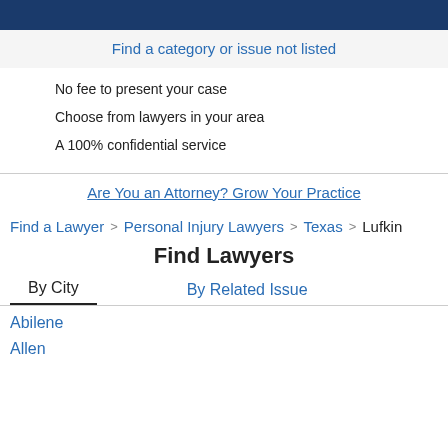Find a category or issue not listed
No fee to present your case
Choose from lawyers in your area
A 100% confidential service
Are You an Attorney? Grow Your Practice
Find a Lawyer  Personal Injury Lawyers  Texas  Lufkin
Find Lawyers
By City   By Related Issue
Abilene
Allen